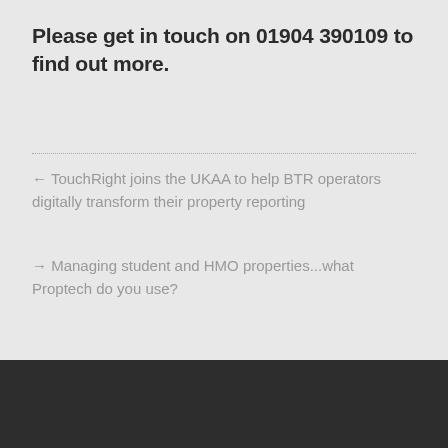Please get in touch on 01904 390109 to find out more.
← TouchRight joins the UKAA to help BTR operators digitally transform their property reporting
→ Managing student and HMO properties...what Proptech do you use?
TouchRight